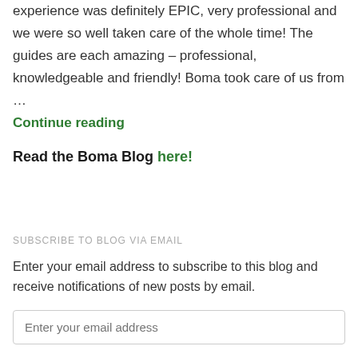experience was definitely EPIC, very professional and we were so well taken care of the whole time! The guides are each amazing – professional, knowledgeable and friendly! Boma took care of us from … Continue reading
Read the Boma Blog here!
SUBSCRIBE TO BLOG VIA EMAIL
Enter your email address to subscribe to this blog and receive notifications of new posts by email.
Enter your email address